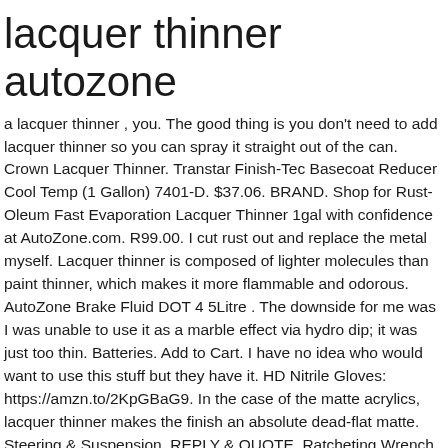lacquer thinner autozone
a lacquer thinner , you. The good thing is you don't need to add lacquer thinner so you can spray it straight out of the can. Crown Lacquer Thinner. Transtar Finish-Tec Basecoat Reducer Cool Temp (1 Gallon) 7401-D. $37.06. BRAND. Shop for Rust-Oleum Fast Evaporation Lacquer Thinner 1gal with confidence at AutoZone.com. R99.00. I cut rust out and replace the metal myself. Lacquer thinner is composed of lighter molecules than paint thinner, which makes it more flammable and odorous. AutoZone Brake Fluid DOT 4 5Litre . The downside for me was I was unable to use it as a marble effect via hydro dip; it was just too thin. Batteries. Add to Cart. I have no idea who would want to use this stuff but they have it. HD Nitrile Gloves: https://amzn.to/2KpGBaG9. In the case of the matte acrylics, lacquer thinner makes the finish an absolute dead-flat matte. Steering & Suspension. REPLY & QUOTE. Ratcheting Wrench Set: https://amzn.to/2BQjj8A 5. The consistency is like thin chocolate milk. It thinned the paint just fine and sprayed without trouble. Popular Products. Restoration Shop Acrylic Lacquer Medium Thinner Automotive Grade Low-Temp Topcoat Thinner Gallon. Fast Orange Smooth Lotion Hand Cleaner: https://amzn.to/2K0RCQ910. FILTER RESULTS. Aug 28, 2017 - Shop for Rust-Oleum Fast